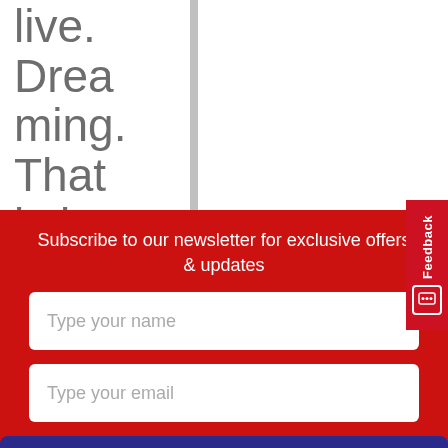live. Dreaming. That is it. As for many
Subscribe to our newsletter for exclusive offers & updates
Type your name
Type your email
Submit